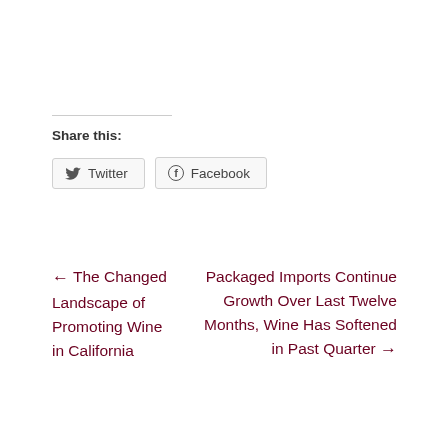Share this:
Twitter
Facebook
← The Changed Landscape of Promoting Wine in California
Packaged Imports Continue Growth Over Last Twelve Months, Wine Has Softened in Past Quarter →